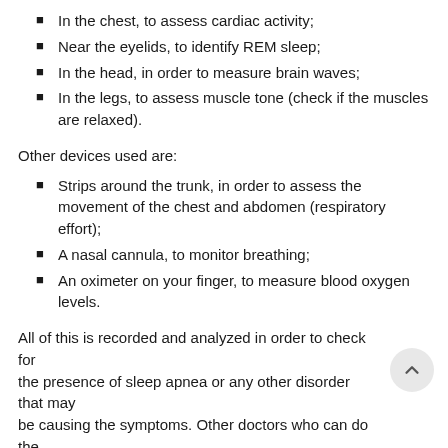In the chest, to assess cardiac activity;
Near the eyelids, to identify REM sleep;
In the head, in order to measure brain waves;
In the legs, to assess muscle tone (check if the muscles are relaxed).
Other devices used are:
Strips around the trunk, in order to assess the movement of the chest and abdomen (respiratory effort);
A nasal cannula, to monitor breathing;
An oximeter on your finger, to measure blood oxygen levels.
All of this is recorded and analyzed in order to check for the presence of sleep apnea or any other disorder that may be causing the symptoms. Other doctors who can do the